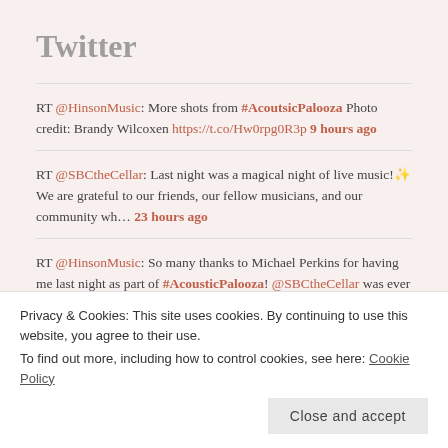Twitter
RT @HinsonMusic: More shots from #AcoutsicPalooza Photo credit: Brandy Wilcoxen https://t.co/Hw0rpg0R3p 9 hours ago
RT @SBCtheCellar: Last night was a magical night of live music!✨ We are grateful to our friends, our fellow musicians, and our community wh... 23 hours ago
RT @HinsonMusic: So many thanks to Michael Perkins for having me last night as part of #AcousticPalooza! @SBCtheCellar was ever the graciou... 1 day ago
RT @HinsonMusic: Justin and Clinton batting lead off #MoCo...
Privacy & Cookies: This site uses cookies. By continuing to use this website, you agree to their use.
To find out more, including how to control cookies, see here: Cookie Policy
Close and accept